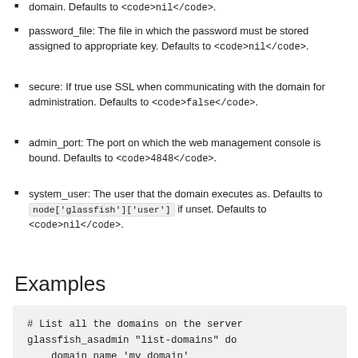domain. Defaults to <nil>.
password_file: The file in which the password must be stored assigned to appropriate key. Defaults to <nil>.
secure: If true use SSL when communicating with the domain for administration. Defaults to <false>.
admin_port: The port on which the web management console is bound. Defaults to <4848>.
system_user: The user that the domain executes as. Defaults to node['glassfish']['user'] if unset. Defaults to <nil>.
system_group: The group that the domain executes as. Defaults to node['glassfish']['group'] if unset. Defaults to <nil>.
Examples
# List all the domains on the server
glassfish_asadmin "list-domains" do
    domain_name 'my_domain'
end